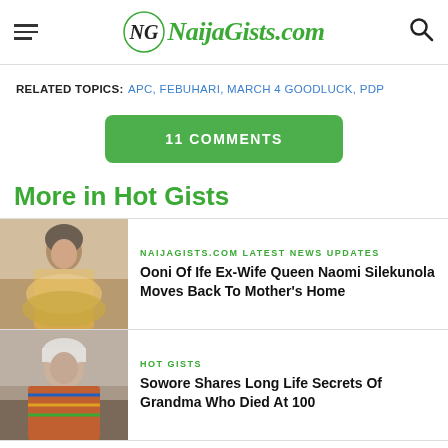NaijaGists.com
RELATED TOPICS: APC, FEBUHARI, MARCH 4 GOODLUCK, PDP
11 COMMENTS
More in Hot Gists
[Figure (photo): Woman in golden outfit, likely Queen Naomi Silekunola]
NAIJAGISTS.COM LATEST NEWS UPDATES
Ooni Of Ife Ex-Wife Queen Naomi Silekunola Moves Back To Mother's Home
[Figure (photo): Elderly woman in traditional attire]
HOT GISTS
Sowore Shares Long Life Secrets Of Grandma Who Died At 100